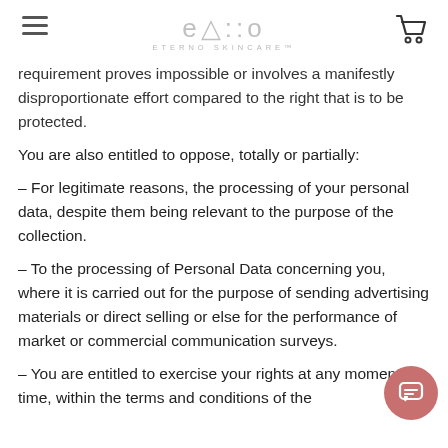ETERNO SKINCARE
requirement proves impossible or involves a manifestly disproportionate effort compared to the right that is to be protected.
You are also entitled to oppose, totally or partially:
– For legitimate reasons, the processing of your personal data, despite them being relevant to the purpose of the collection.
– To the processing of Personal Data concerning you, where it is carried out for the purpose of sending advertising materials or direct selling or else for the performance of market or commercial communication surveys.
– You are entitled to exercise your rights at any moment in time, within the terms and conditions of the